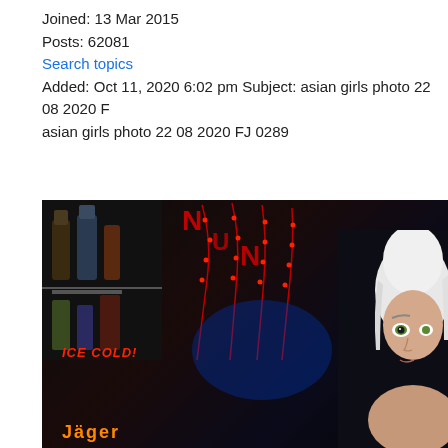Joined: 13 Mar 2015
Posts: 62081
Search topics
Added: Oct 11, 2020 6:02 pm Subject: asian girls photo 22 08 2020 FJ asian girls photo 22 08 2020 FJ 0289
[Figure (photo): Bar scene photo showing a dark interior with red LED neon decorations spelling letters, bottle shelves on the left, an 'ICE COLD!' sign in red neon, a Jäger logo at the bottom left, and a person with white/blonde hair and green eyes on the right side.]